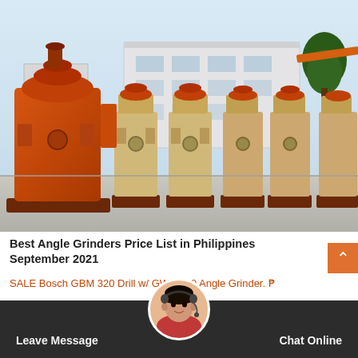[Figure (photo): Industrial machinery — large orange and beige cone crusher/grinding machines lined up in a factory yard with a building and tree in the background]
Best Angle Grinders Price List in Philippines September 2021
SALE Bosch GBM 320 Drill w/ GWS 060 Angle Grinder. ₱
3,369.00 ₱ 5,150.00 –34%. MC ARC 4.8 /5. Philippine. SALE Makita AC220V-240V Armature Stator for MAKITA Angle
Leave Message
Chat Online